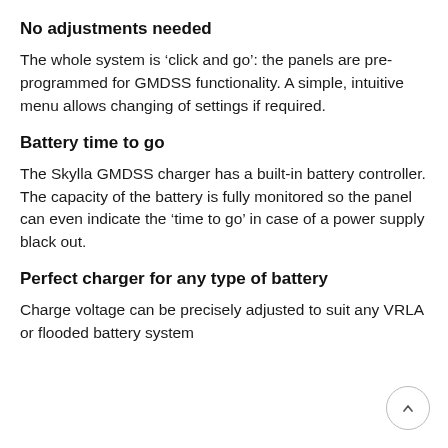No adjustments needed
The whole system is ‘click and go’: the panels are pre-programmed for GMDSS functionality. A simple, intuitive menu allows changing of settings if required.
Battery time to go
The Skylla GMDSS charger has a built-in battery controller. The capacity of the battery is fully monitored so the panel can even indicate the ‘time to go’ in case of a power supply black out.
Perfect charger for any type of battery
Charge voltage can be precisely adjusted to suit any VRLA or flooded battery system